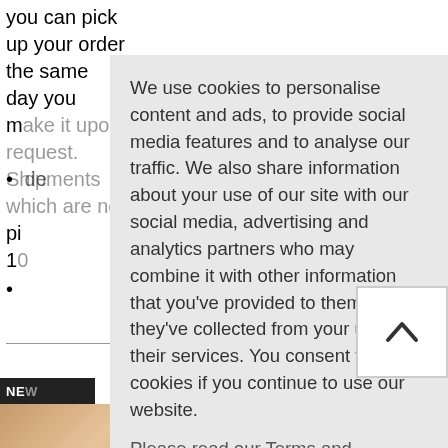you can pick up your order the same day you make it upon request. Shipments which are not picked up... 10...
de...
We use cookies to personalise content and ads, to provide social media features and to analyse our traffic. We also share information about your use of our site with our social media, advertising and analytics partners who may combine it with other information that you've provided to them or that they've collected from your use of their services. You consent to our cookies if you continue to use our website.
Please read our Terms and Conditions and our Privacy Policy.
I ACCEPT
NE...